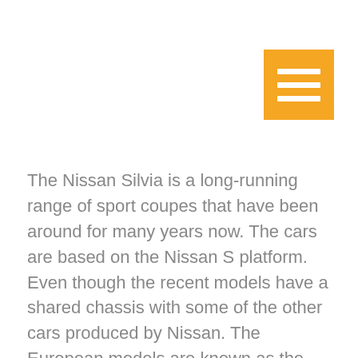[Figure (other): Orange menu/hamburger button icon in top right corner with three white horizontal bars]
The Nissan Silvia is a long-running range of sport coupes that have been around for many years now. The cars are based on the Nissan S platform. Even though the recent models have a shared chassis with some of the other cars produced by Nissan. The European models are known as the 200SX while the North American ones are called the 240SX.  Their main competitors around the World include Mazda MX-6, Isuzu Impulse, Honda Prelude. And of course the Mitsubishi Eclipse.